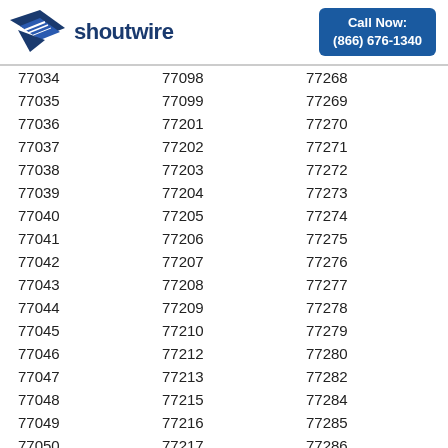shoutwire | Call Now: (866) 676-1340
| 77034 | 77098 | 77268 |
| 77035 | 77099 | 77269 |
| 77036 | 77201 | 77270 |
| 77037 | 77202 | 77271 |
| 77038 | 77203 | 77272 |
| 77039 | 77204 | 77273 |
| 77040 | 77205 | 77274 |
| 77041 | 77206 | 77275 |
| 77042 | 77207 | 77276 |
| 77043 | 77208 | 77277 |
| 77044 | 77209 | 77278 |
| 77045 | 77210 | 77279 |
| 77046 | 77212 | 77280 |
| 77047 | 77213 | 77282 |
| 77048 | 77215 | 77284 |
| 77049 | 77216 | 77285 |
| 77050 | 77217 | 77286 |
| 77051 | 77218 | 77287 |
| 77052 | 77219 | 77288 |
| 77053 | 77220 | 77289 |